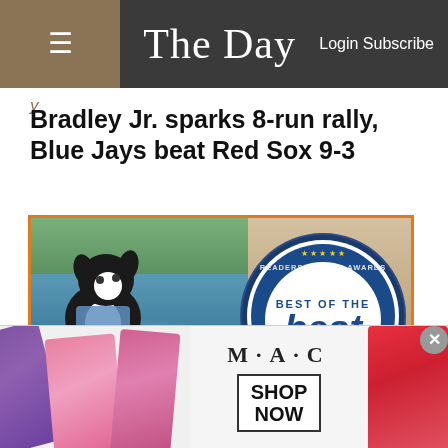The Day — Login Subscribe
Bradley Jr. sparks 8-run rally, Blue Jays beat Red Sox 9-3
[Figure (photo): Advertisement showing a dog jumping in water on the left side and a 'Best of the Best 2022 Readers Choice Awards — The Day • TheDay.com' badge on the right. Caption: Dog Daycare, Training, Grooming,]
[Figure (photo): MAC cosmetics advertisement showing lipsticks with 'SHOP NOW' button]